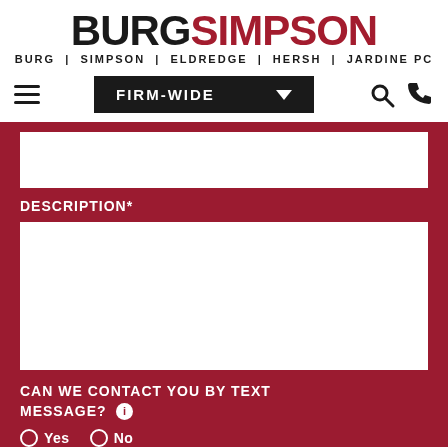BURG SIMPSON | BURG | SIMPSON | ELDREDGE | HERSH | JARDINE PC
[Figure (screenshot): Navigation bar with hamburger menu, FIRM-WIDE dropdown, search icon, and phone icon]
DESCRIPTION*
CAN WE CONTACT YOU BY TEXT MESSAGE?
Yes  No